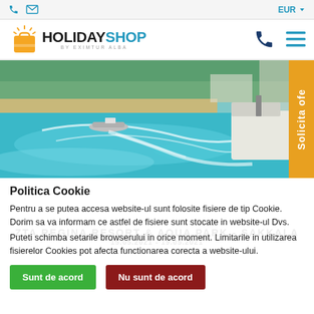EUR
[Figure (logo): HolidayShop by Eximtur Alba logo with orange bag icon]
[Figure (photo): Aerial photo of turquoise sea with speedboats and yachts near a sandy beach resort]
Politica Cookie
Pentru a se putea accesa website-ul sunt folosite fisiere de tip Cookie. Dorim sa va informam ce astfel de fisiere sunt stocate in website-ul Dvs.
Puteti schimba setarile browserului in orice moment. Limitarile in utilizarea fisierelor Cookies pot afecta functionarea corecta a website-ului.
Sunt de acord
Nu sunt de acord